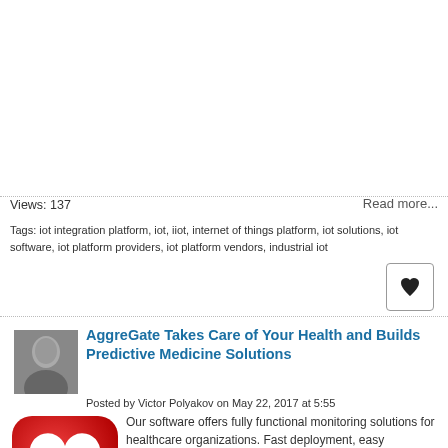Views: 137
Read more...
Tags: iot integration platform, iot, iiot, internet of things platform, iot solutions, iot software, iot platform providers, iot platform vendors, industrial iot
[Figure (illustration): Heart/like button icon]
[Figure (photo): Black and white headshot of Victor Polyakov]
AggreGate Takes Care of Your Health and Builds Predictive Medicine Solutions
Posted by Victor Polyakov on May 22, 2017 at 5:55
[Figure (illustration): Red rounded square icon with white heart and red cross medical symbol]
Our software offers fully functional monitoring solutions for healthcare organizations. Fast deployment, easy integration, and great usability guarantee quick troubleshooting to your healthcare IT teams.
AggreGate IoT Platform enables centralized monitoring and data